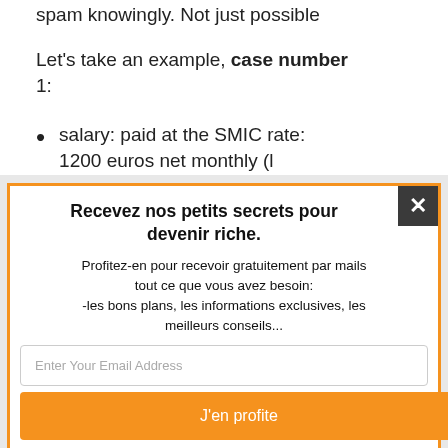spam knowingly. Not just possible
Let's take an example, case number 1:
salary: paid at the SMIC rate: 1200 euros net monthly (l
Recevez nos petits secrets pour devenir riche.
Profitez-en pour recevoir gratuitement par mails tout ce que vous avez besoin:
-les bons plans, les informations exclusives, les meilleurs conseils...
Enter Your Email Address
J'en profite